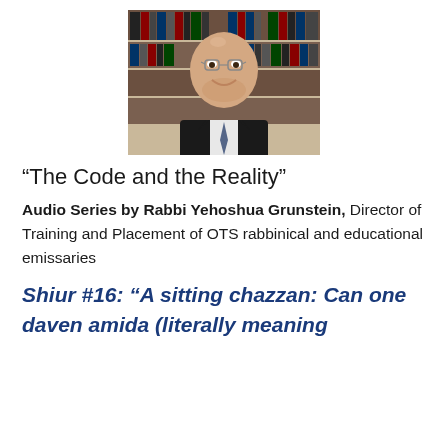[Figure (photo): Portrait photo of Rabbi Yehoshua Grunstein, a smiling bald man wearing glasses, a dark suit, and a tie, with bookshelves in the background]
“The Code and the Reality”
Audio Series by Rabbi Yehoshua Grunstein, Director of Training and Placement of OTS rabbinical and educational emissaries
Shiur #16: “A sitting chazzan: Can one daven amida (literally meaning